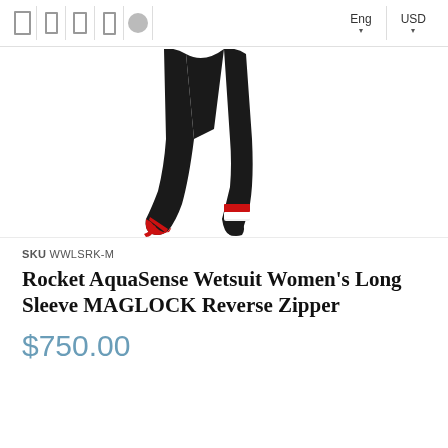Eng USD
[Figure (photo): Product photo showing the lower half of a women's wetsuit with black neoprene material, red and white accent stripes near the ankles, and red accents near the feet.]
SKU WWLSRK-M
Rocket AquaSense Wetsuit Women's Long Sleeve MAGLOCK Reverse Zipper
$750.00